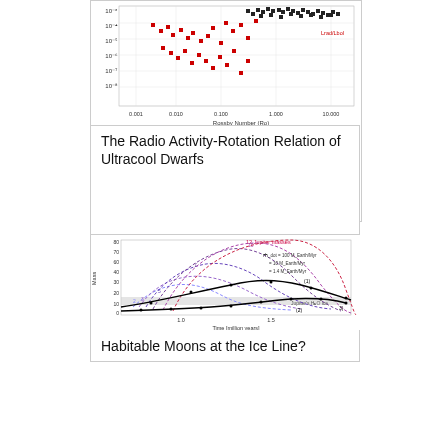[Figure (scatter-plot): Scatter plot showing radio activity-rotation relation of ultracool dwarfs. X-axis: Rossby Number (Ro), Y-axis: luminosity ratio. Black and red data points scattered across the plot.]
The Radio Activity-Rotation Relation of Ultracool Dwarfs
[Figure (line-chart): Line chart showing mass of moons vs time in million years for different Jupiter mass scenarios (2, 3, 5, 7, 10, 12 Jupiter masses). Solid black lines and dashed colored lines. X-axis: Time [million years], Y-axis: mass values. Shows Jupiter's H2O ice line as a shaded horizontal band.]
Habitable Moons at the Ice Line?